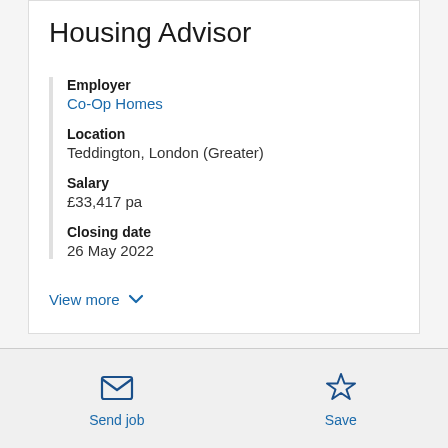Housing Advisor
Employer
Co-Op Homes
Location
Teddington, London (Greater)
Salary
£33,417 pa
Closing date
26 May 2022
View more
Send job  Save